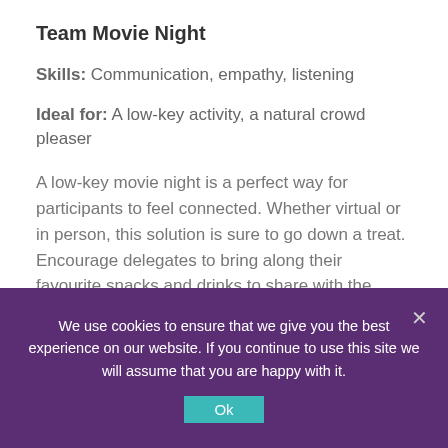Team Movie Night
Skills: Communication, empathy, listening
Ideal for: A low-key activity, a natural crowd pleaser
A low-key movie night is a perfect way for participants to feel connected. Whether virtual or in person, this solution is sure to go down a treat. Encourage delegates to bring along their favourite snacks and drinks to share with the group. An alternative could be to encourage all employees to watch a specific TV show, which then becomes the focal point for group...
We use cookies to ensure that we give you the best experience on our website. If you continue to use this site we will assume that you are happy with it. Ok